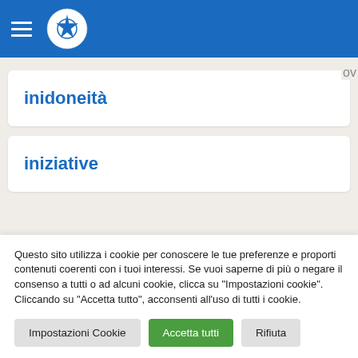Italian Government website header with menu icon and logo
inidoneità
iniziative
Questo sito utilizza i cookie per conoscere le tue preferenze e proporti contenuti coerenti con i tuoi interessi. Se vuoi saperne di più o negare il consenso a tutti o ad alcuni cookie, clicca su "Impostazioni cookie". Cliccando su "Accetta tutto", acconsenti all'uso di tutti i cookie.
Impostazioni Cookie | Accetta tutti | Rifiuta